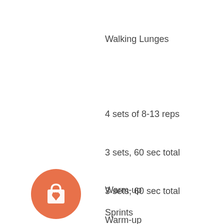Walking Lunges
4 sets of 8-13 reps
3 sets, 60 sec total
3 sets, 60 sec total
Warm-up
Sprints
[Figure (illustration): Orange circle icon with a shopping bag and heart symbol]
Warm-up